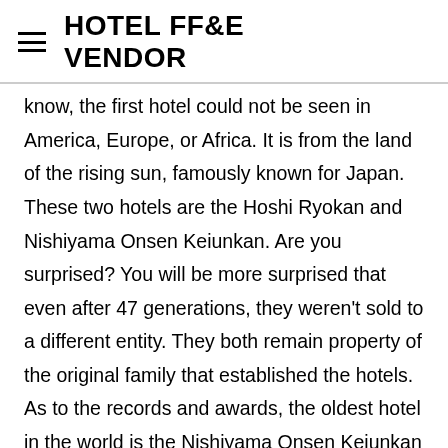HOTEL FF&E VENDOR
know, the first hotel could not be seen in America, Europe, or Africa. It is from the land of the rising sun, famously known for Japan. These two hotels are the Hoshi Ryokan and Nishiyama Onsen Keiunkan. Are you surprised? You will be more surprised that even after 47 generations, they weren't sold to a different entity. They both remain property of the original family that established the hotels. As to the records and awards, the oldest hotel in the world is the Nishiyama Onsen Keiunkan that can be found in Yamanashi, Japan. Nowadays, most of the hotels have changed the way we know them, and only a few have